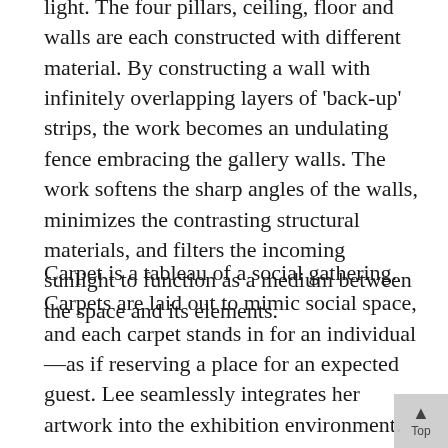light. The four pillars, ceiling, floor and walls are each constructed with different material. By constructing a wall with infinitely overlapping layers of 'back-up' strips, the work becomes an undulating fence embracing the gallery walls. The work softens the sharp angles of the walls, minimizes the contrasting structural materials, and filters the incoming sunlight to function as a medium between the space and its elements.
Carpet is a tableau of a social gathering. Carpets are laid out to mimic social space, and each carpet stands in for an individual—as if reserving a place for an expected guest. Lee seamlessly integrates her artwork into the exhibition environment. The artwork will be stepped upon, both knowingly and unknowingly. Each object is carefully placed to enhance the viewer's experience of the space, thereby also amplifying the impact of Park's